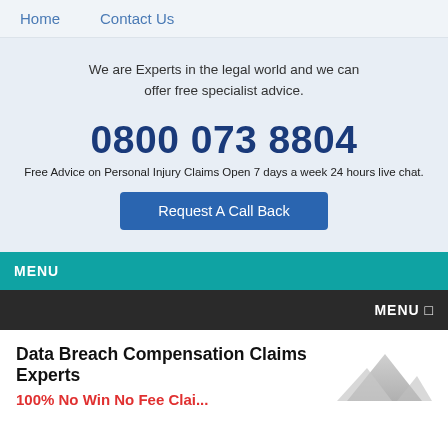Home   Contact Us
We are Experts in the legal world and we can offer free specialist advice.
0800 073 8804
Free Advice on Personal Injury Claims Open 7 days a week 24 hours live chat.
Request A Call Back
MENU
MENU □
Data Breach Compensation Claims Experts
100% No Win No Fee Clai...